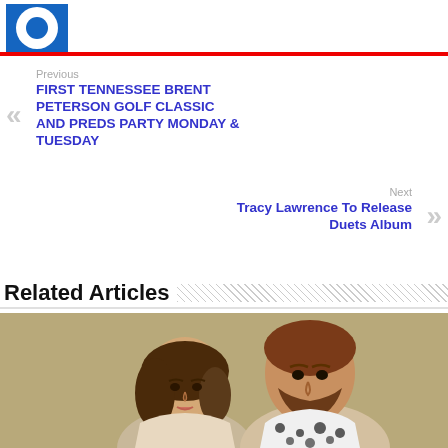[Figure (logo): Blue square logo with white circle and blue inner circle]
Previous
FIRST TENNESSEE BRENT PETERSON GOLF CLASSIC AND PREDS PARTY MONDAY & TUESDAY
Next
Tracy Lawrence To Release Duets Album
Related Articles
[Figure (photo): Two people posing for photo: a woman with brown hair on the left and a man with dark hair and beard on the right, against a beige/olive background]